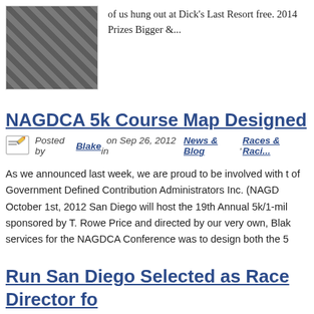[Figure (photo): A photo showing runners at a race event, cropped view with diagonal stripes pattern visible]
of us hung out at Dick's Last Resort free. 2014 Prizes Bigger &...
NAGDCA 5k Course Map Designed
Posted by Blake on Sep 26, 2012 in News & Blog, Races & Racing
As we announced last week, we are proud to be involved with the National Association of Government Defined Contribution Administrators Inc. (NAGDCA). On October 1st, 2012 San Diego will host the 19th Annual 5k/1-mile Fun Run sponsored by T. Rowe Price and directed by our very own, Blake. Our services for the NAGDCA Conference was to design both the 5
Run San Diego Selected as Race Director for 5k/1mi Fun Run